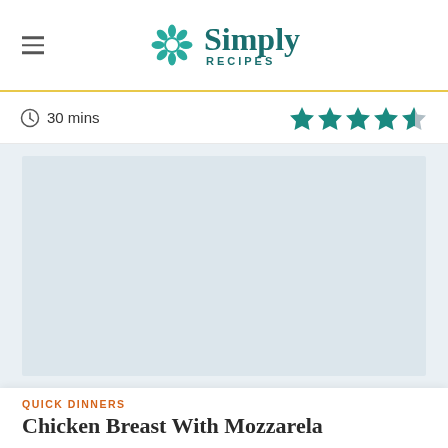Simply Recipes
30 mins
[Figure (illustration): Star rating showing 4 out of 5 stars (teal filled stars with last star half-filled/grey)]
[Figure (photo): Large rectangular image placeholder area with light blue-grey background]
QUICK DINNERS
Chicken Breast With Mozzarella